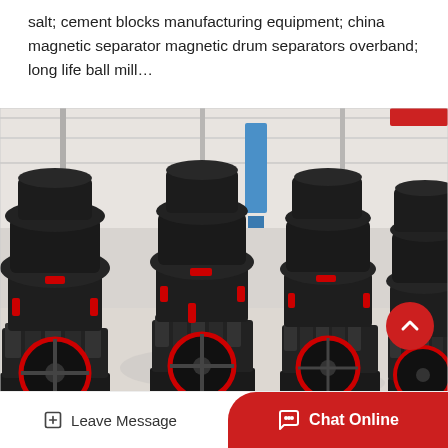salt; cement blocks manufacturing equipment; china magnetic separator magnetic drum separators overband; long life ball mill…
[Figure (photo): Industrial manufacturing facility showing a row of large black cone crusher machines with red flywheels and red hydraulic components, lined up on a factory floor with a high steel-framed roof structure.]
Leave Message
Chat Online